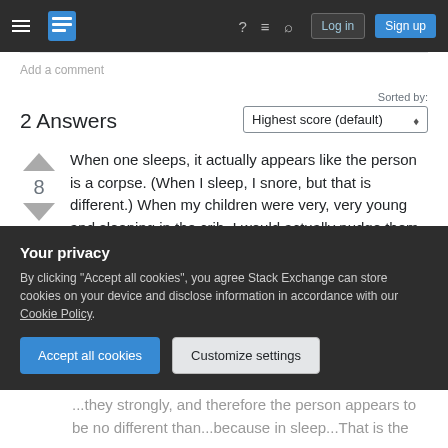Stack Exchange navigation bar with hamburger menu, logo, help, chat, search icons, Log in and Sign up buttons
Add a comment
2 Answers
Sorted by: Highest score (default)
When one sleeps, it actually appears like the person is a corpse. (When I sleep, I snore, but that is different.) When my children were very, very young and sleeping in the crib, I would actually nudge them to ensure they were not dead, because in sleep the resemblance is almost
Your privacy
By clicking "Accept all cookies", you agree Stack Exchange can store cookies on your device and disclose information in accordance with our Cookie Policy.
Accept all cookies   Customize settings